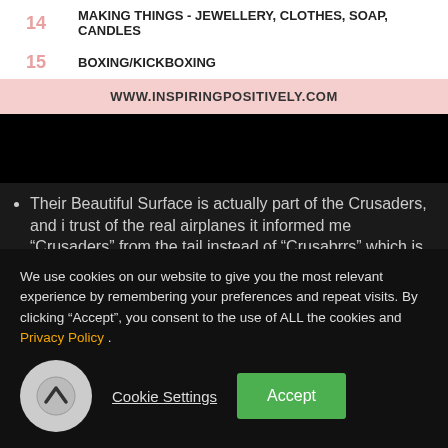| 14 | MAKING THINGS - JEWELLERY, CLOTHES, SOAP, CANDLES |
| 15 | BOXING/KICKBOXING |
|  | WWW.INSPIRINGPOSITIVELY.COM |
Their Beautiful Surface is actually part of the Crusaders, and i trust of the real airplanes it informed me “Crusaders” from the tail instead of “Crusabrrs” which is shown over at my version.
Light-gray were White Blue Gray , Dark gray was in fact Dark colored Blue Gray , and Gret has been Reddish Gret.
We use cookies on our website to give you the most relevant experience by remembering your preferences and repeat visits. By clicking “Accept”, you consent to the use of ALL the cookies and Privacy Policy .
Cookie Settings   Accept